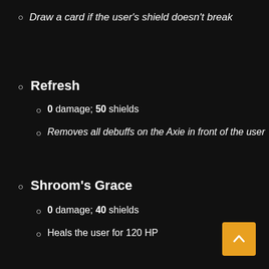Draw a card if the user's shield doesn't break
Refresh
0 damage; 50 shields
Removes all debuffs on the Axie in front of the user
Shroom's Grace
0 damage; 40 shields
Heals the user for 120 HP